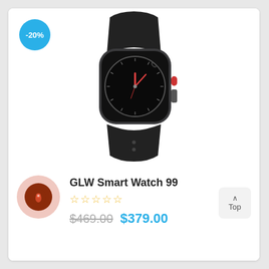[Figure (photo): Apple Watch Series 3 with black sport band and space gray aluminum case, showing analog watch face with red hands, displayed at an angle]
-20%
[Figure (logo): Circular brand logo with pinkish outer ring, dark brown inner circle, and a small flame/feather icon in white]
GLW Smart Watch 99
★★★★★ (empty stars rating)
$469.00  $379.00
^ Top